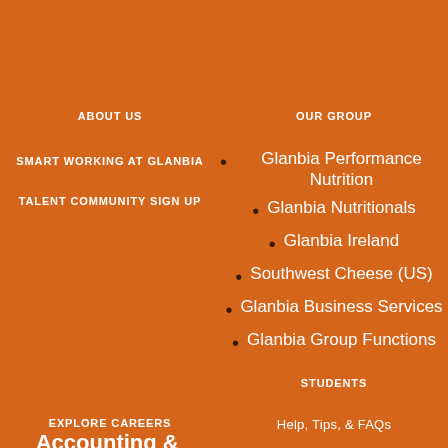ABOUT US
SMART WORKING AT GLANBIA
TALENT COMMUNITY SIGN UP
OUR GROUP
Glanbia Performance Nutrition
Glanbia Nutritionals
Glanbia Ireland
Southwest Cheese (US)
Glanbia Business Services
Glanbia Group Functions
STUDENTS
EXPLORE CAREERS
Help, Tips, & FAQs
Accounting & Finance